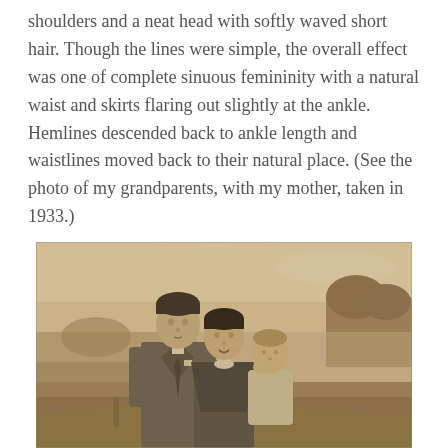shoulders and a neat head with softly waved short hair. Though the lines were simple, the overall effect was one of complete sinuous femininity with a natural waist and skirts flaring out slightly at the ankle. Hemlines descended back to ankle length and waistlines moved back to their natural place. (See the photo of my grandparents, with my mother, taken in 1933.)
[Figure (photo): A sepia-toned vintage photograph from 1933 showing three people outdoors: a young man in a double-breasted suit on the left looking down, a young woman in the center smiling at the camera, and a small child/toddler being held on the right. There is a rural landscape with trees and fields in the background.]